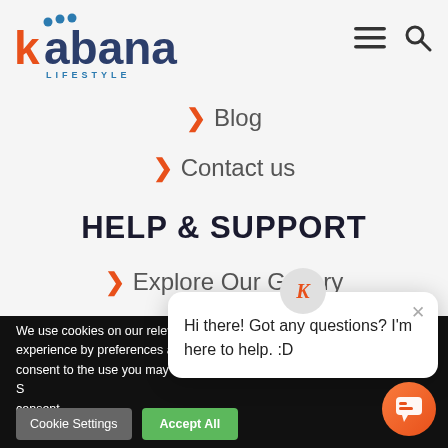[Figure (logo): Kabana Lifestyle logo with orange and dark blue text and decorative dots]
> Blog
> Contact us
HELP & SUPPORT
> Explore Our Gallery
We use cookies on our relevant experience by preferences and repe you consent to the use you may visit "Cookie S consent.
Cookie Settings   Accept All
[Figure (screenshot): Chat popup with K avatar and message: Hi there! Got any questions? I'm here to help. :D]
[Figure (illustration): Orange chat bubble icon in bottom right corner]